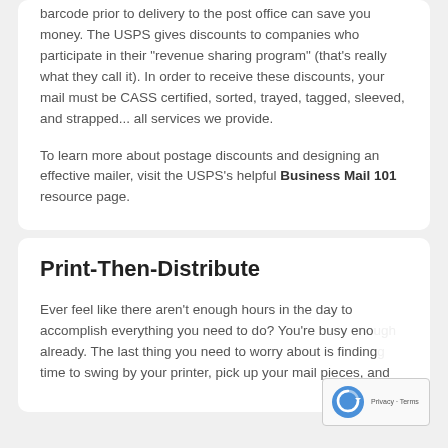barcode prior to delivery to the post office can save you money. The USPS gives discounts to companies who participate in their "revenue sharing program" (that's really what they call it). In order to receive these discounts, your mail must be CASS certified, sorted, trayed, tagged, sleeved, and strapped... all services we provide.
To learn more about postage discounts and designing an effective mailer, visit the USPS's helpful Business Mail 101 resource page.
Print-Then-Distribute
Ever feel like there aren't enough hours in the day to accomplish everything you need to do? You're busy enough already. The last thing you need to worry about is finding time to swing by your printer, pick up your mail pieces, and